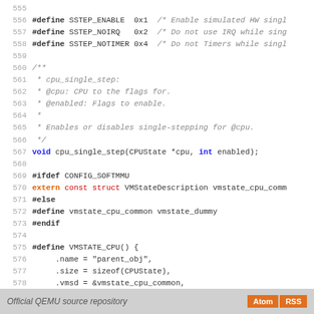[Figure (screenshot): Source code listing lines 555-583 of QEMU source repository showing C header file with SSTEP macros, cpu_single_step function declaration, and VMSTATE_CPU macro definition]
Official QEMU source repository  Atom  RSS